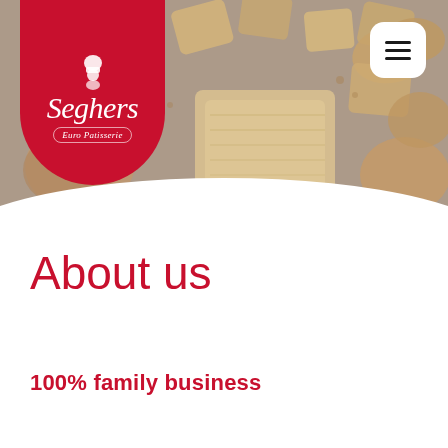[Figure (photo): Hero image of assorted baked pastry cookies and snacks on a dark slate surface, with the Seghers Euro Patisserie red logo badge in the top-left and a white hamburger menu button in the top-right.]
About us
100% family business